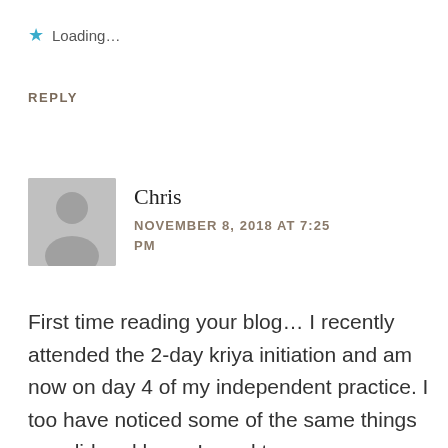★ Loading...
REPLY
[Figure (illustration): Default grey avatar icon showing a silhouette of a person (head and shoulders) in grey color]
Chris
NOVEMBER 8, 2018 AT 7:25 PM
First time reading your blog… I recently attended the 2-day kriya initiation and am now on day 4 of my independent practice. I too have noticed some of the same things you did and know I need to